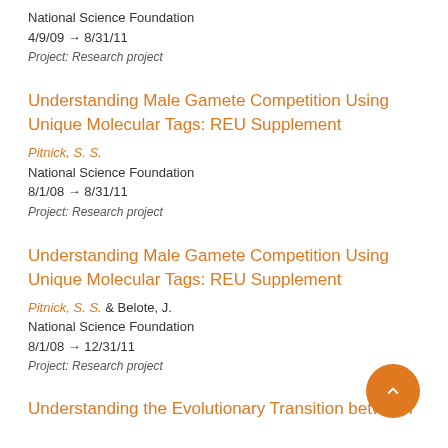National Science Foundation
4/9/09 → 8/31/11
Project: Research project
Understanding Male Gamete Competition Using Unique Molecular Tags: REU Supplement
Pitnick, S. S.
National Science Foundation
8/1/08 → 8/31/11
Project: Research project
Understanding Male Gamete Competition Using Unique Molecular Tags: REU Supplement
Pitnick, S. S. & Belote, J.
National Science Foundation
8/1/08 → 12/31/11
Project: Research project
Understanding the Evolutionary Transition between